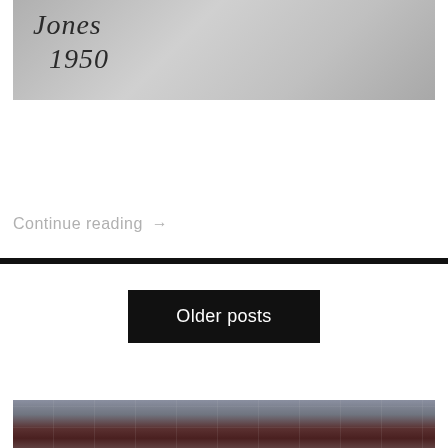[Figure (photo): Photograph with handwritten text reading 'Jones 1950' on a grey textured background]
Continue reading →
[Figure (photo): Partial photograph at bottom of page showing a dark reddish-brown landscape or abstract image with faint grid/architectural lines]